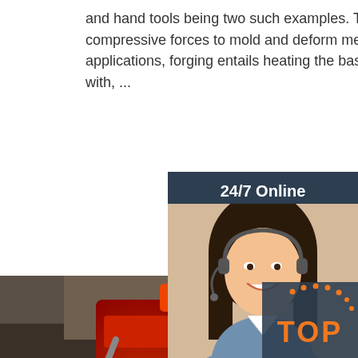and hand tools being two such examples. The process itself involves using compressive forces to mold and deform metal into the desired shape. For most applications, forging entails heating the base metal until it is malleable enough to work with, ...
Get Price
24/7 Online
[Figure (photo): Customer service agent with headset smiling]
Click here for free chat !
QUOTATION
[Figure (photo): Industrial forging machine in red with workers examining equipment]
[Figure (other): TOP badge with orange dots decoration]